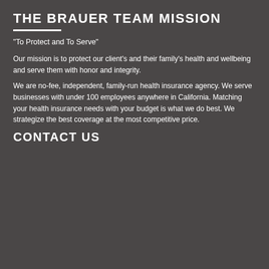THE BRAUER TEAM MISSION
"To Protect and To Serve"
Our mission is to protect our client's and their family's health and wellbeing and serve them with honor and integrity.
We are no-fee, independent, family-run health insurance agency. We serve businesses with under 100 employees anywhere in California. Matching your health insurance needs with your budget is what we do best. We strategize the best coverage at the most competitive price.
CONTACT US